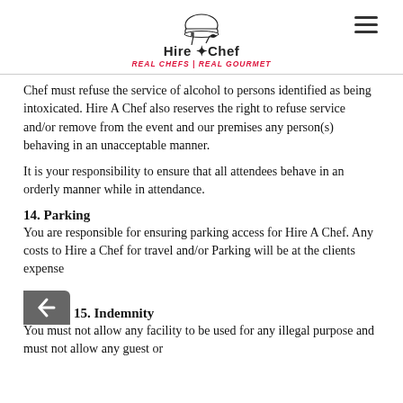Hire A Chef — REAL CHEFS | REAL GOURMET
Chef must refuse the service of alcohol to persons identified as being intoxicated. Hire A Chef also reserves the right to refuse service and/or remove from the event and our premises any person(s) behaving in an unacceptable manner.
It is your responsibility to ensure that all attendees behave in an orderly manner while in attendance.
14. Parking
You are responsible for ensuring parking access for Hire A Chef. Any costs to Hire a Chef for travel and/or Parking will be at the clients expense
15. Indemnity
You must not allow any facility to be used for any illegal purpose and must not allow any guest or...